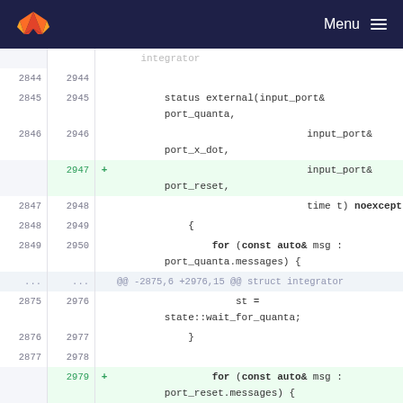Menu
[Figure (screenshot): GitLab code diff view showing lines 2844-2979 with added lines for port_reset parameter in C++ integrator struct]
integrator
2844 2944
2845 2945  status external(input_port& port_quanta,
2846 2946                          input_port& port_x_dot,
+ 2947                          input_port& port_reset,
2847 2948                          time t) noexcept
2848 2949          {
2849 2950              for (const auto& msg : port_quanta.messages) {
@@ -2875,6 +2976,15 @@ struct integrator
2875 2976                  st = state::wait_for_quanta;
2876 2977          }
2877 2978
+ 2979              for (const auto& msg : port_reset.messages) {